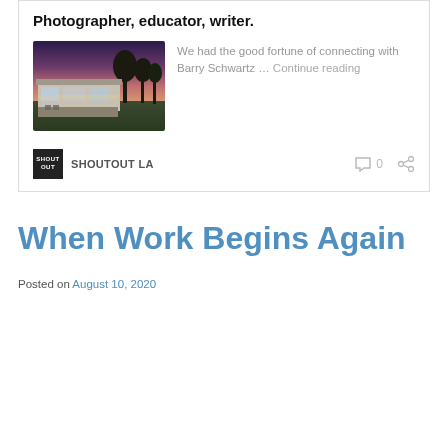Photographer, educator, writer.
[Figure (photo): Exterior photo of a modern house at dusk with purple-pink sky, trees in background, patio furniture visible]
We had the good fortune of connecting with Barry Schwartz … Continue reading
SHOUTOUT LA
When Work Begins Again
Posted on August 10, 2020